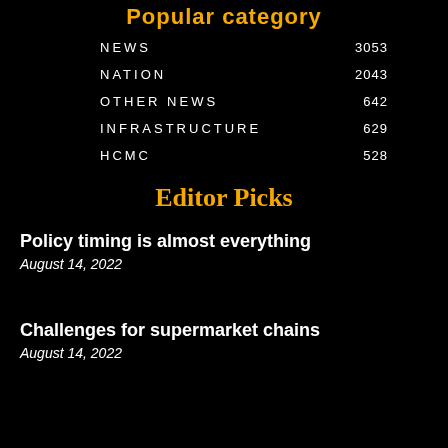Popular category
NEWS  3053
NATION  2043
OTHER NEWS  642
INFRASTRUCTURE  629
HCMC  528
Editor Picks
Policy timing is almost everything
August 14, 2022
Challenges for supermarket chains
August 14, 2022